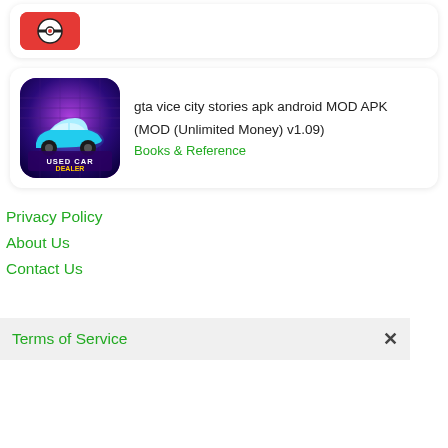[Figure (screenshot): Partial top card showing a red/Pokeball style app icon with a person]
gta vice city stories apk android MOD APK (MOD (Unlimited Money) v1.09)
Books & Reference
Privacy Policy
About Us
Contact Us
Terms of Service